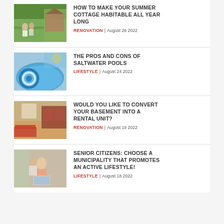HOW TO MAKE YOUR SUMMER COTTAGE HABITABLE ALL YEAR LONG | RENOVATION | August 26 2022
THE PROS AND CONS OF SALTWATER POOLS | LIFESTYLE | August 24 2022
WOULD YOU LIKE TO CONVERT YOUR BASEMENT INTO A RENTAL UNIT? | RENOVATION | August 19 2022
SENIOR CITIZENS: CHOOSE A MUNICIPALITY THAT PROMOTES AN ACTIVE LIFESTYLE! | LIFESTYLE | August 18 2022